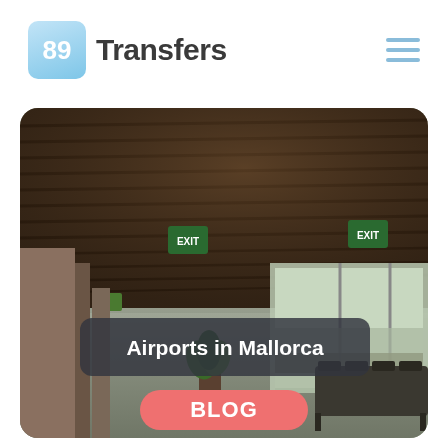[Figure (logo): 89 Transfers logo: light blue rounded square with '89' in white, followed by 'Transfers' in bold dark gray text]
[Figure (photo): Interior of Mallorca airport terminal showing a wooden slatted ceiling, green exit signs, tall windows overlooking runway, reflective floor, seating area, and a potted plant]
Airports in Mallorca
BLOG